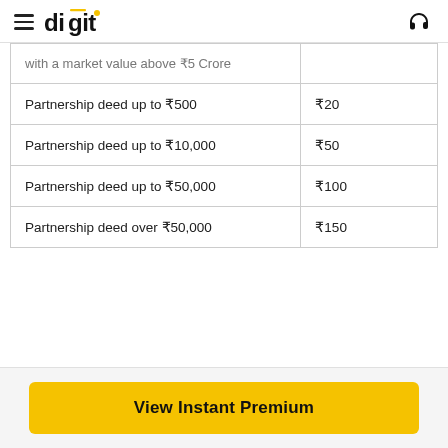digit
| Description | Stamp Duty |
| --- | --- |
| with a market value above ₹5 Crore |  |
| Partnership deed up to ₹500 | ₹20 |
| Partnership deed up to ₹10,000 | ₹50 |
| Partnership deed up to ₹50,000 | ₹100 |
| Partnership deed over ₹50,000 | ₹150 |
View Instant Premium